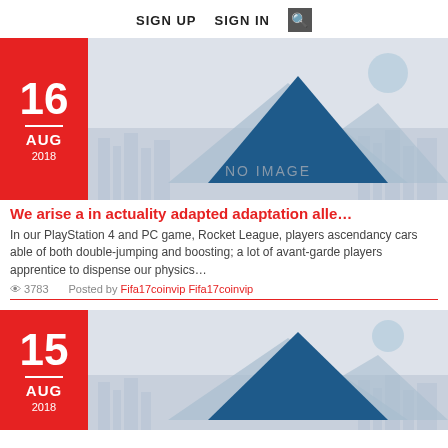SIGN UP   SIGN IN  🔍
[Figure (illustration): No image placeholder with mountain silhouettes and city skyline in light blue/grey tones. Date badge showing 16 AUG 2018 in red.]
We arise a in actuality adapted adaptation alle…
In our PlayStation 4 and PC game, Rocket League, players ascendancy cars able of both double-jumping and boosting; a lot of avant-garde players apprentice to dispense our physics…
👁 3783   Posted by Fifa17coinvip Fifa17coinvip
[Figure (illustration): No image placeholder with mountain silhouettes and city skyline in light blue/grey tones. Date badge showing 15 AUG 2018 in red.]